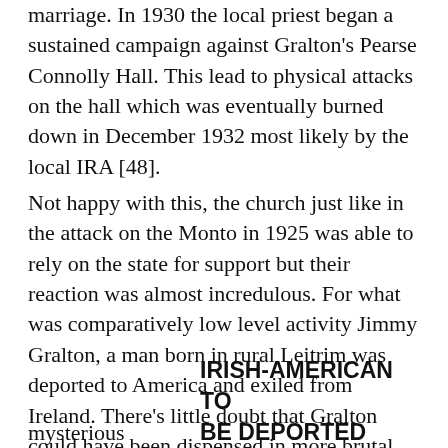marriage. In 1930 the local priest began a sustained campaign against Gralton's Pearse Connolly Hall. This lead to physical attacks on the hall which was eventually burned down in December 1932 most likely by the local IRA [48].
Not happy with this, the church just like in the attack on the Monto in 1925 was able to rely on the state for support but their reaction was almost incredulous. For what was comparatively low level activity Jimmy Gralton, a man born in rural Leitrim was deported to America and exiled from Ireland. There's little doubt that Gralton could have been dispensed in more brutal ways for example in 1931 the republican James Vaugh died in very mysterious
IRISH-AMERICAN TO BE DEPORTED